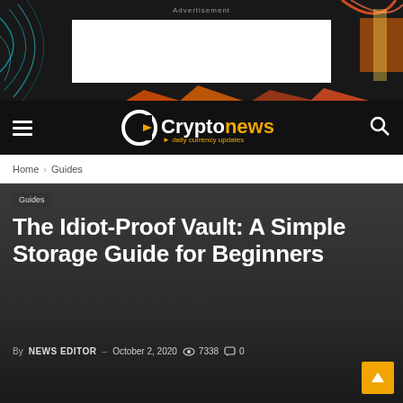[Figure (screenshot): Advertisement banner with colorful abstract background and white rectangle placeholder]
Cryptonews · daily currency updates
Home › Guides
[Figure (photo): Dark hero image area background]
Guides
The Idiot-Proof Vault: A Simple Storage Guide for Beginners
By NEWS EDITOR – October 2, 2020 👁 7338 💬 0